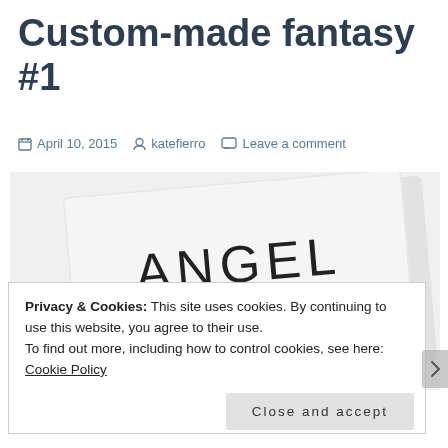Custom-made fantasy #1
April 10, 2015  katefierro  Leave a comment
[Figure (photo): A business card on a textured white/grey background. The card shows 'ANGEL' in large thin uppercase letters and below it 'custommadefantasy@gmail.com' in smaller text.]
Privacy & Cookies: This site uses cookies. By continuing to use this website, you agree to their use.
To find out more, including how to control cookies, see here: Cookie Policy
Close and accept